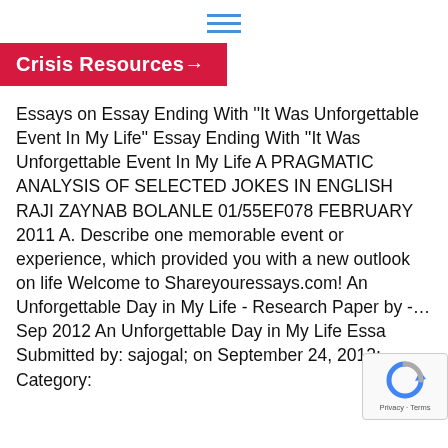[Figure (other): Hamburger menu icon (three horizontal blue lines)]
Crisis Resources →
Essays on Essay Ending With ''It Was Unforgettable Event In My Life'' Essay Ending With ''It Was Unforgettable Event In My Life A PRAGMATIC ANALYSIS OF SELECTED JOKES IN ENGLISH RAJI ZAYNAB BOLANLE 01/55EF078 FEBRUARY 2011 A. Describe one memorable event or experience, which provided you with a new outlook on life Welcome to Shareyouressays.com! An Unforgettable Day in My Life - Research Paper by -… Sep 2012 An Unforgettable Day in My Life Essa Submitted by: sajogal; on September 24, 2012; Category:
[Figure (logo): reCAPTCHA badge with Google reCAPTCHA logo, showing 'Privacy - Terms' text]